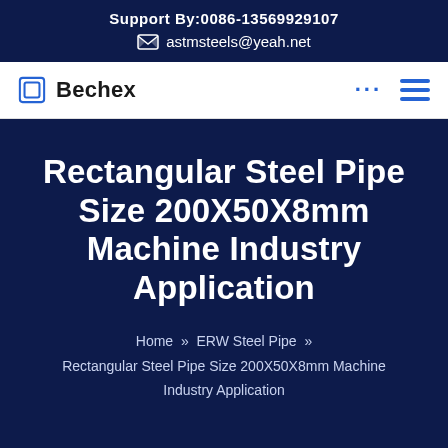Support By:0086-13569929107
astmsteels@yeah.net
[Figure (logo): Bechex company logo with square icon and navigation bar with dots and hamburger menu]
Rectangular Steel Pipe Size 200X50X8mm Machine Industry Application
Home » ERW Steel Pipe » Rectangular Steel Pipe Size 200X50X8mm Machine Industry Application